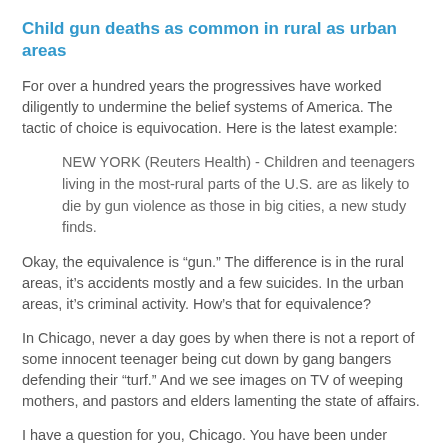Child gun deaths as common in rural as urban areas
For over a hundred years the progressives have worked diligently to undermine the belief systems of America. The tactic of choice is equivocation. Here is the latest example:
NEW YORK (Reuters Health) - Children and teenagers living in the most-rural parts of the U.S. are as likely to die by gun violence as those in big cities, a new study finds.
Okay, the equivalence is “gun.” The difference is in the rural areas, it’s accidents mostly and a few suicides. In the urban areas, it’s criminal activity. How’s that for equivalence?
In Chicago, never a day goes by when there is not a report of some innocent teenager being cut down by gang bangers defending their “turf.” And we see images on TV of weeping mothers, and pastors and elders lamenting the state of affairs.
I have a question for you, Chicago. You have been under Progressive governance for a hundred years. How’s it